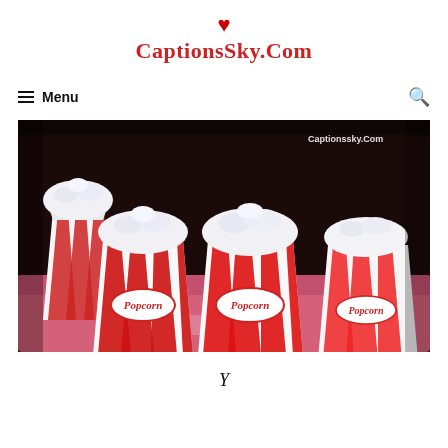CaptionsSky.Com
≡ Menu
[Figure (photo): Multiple red and white striped popcorn bags filled with popcorn arranged on a tray. The bags have 'Popcorn' written on them in a classic style. Watermark reads 'Captionssky.Com' in the top right corner.]
Y